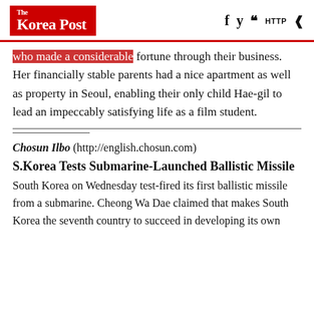The Korea Post
...who made a considerable fortune through their business. Her financially stable parents had a nice apartment as well as property in Seoul, enabling their only child Hae-gil to lead an impeccably satisfying life as a film student.
Chosun Ilbo (http://english.chosun.com)
S.Korea Tests Submarine-Launched Ballistic Missile
South Korea on Wednesday test-fired its first ballistic missile from a submarine. Cheong Wa Dae claimed that makes South Korea the seventh country to succeed in developing its own